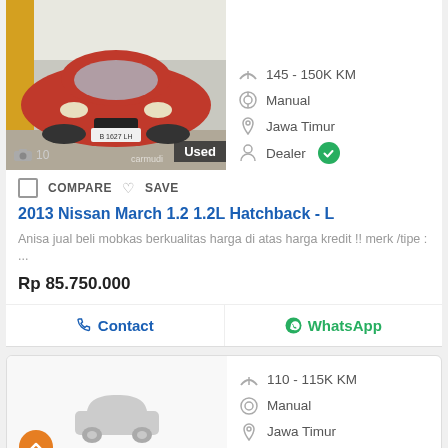[Figure (photo): Red Nissan March hatchback car front view in indoor parking, with 'Used' badge overlay]
145 - 150K KM
Manual
Jawa Timur
Dealer
COMPARE  SAVE
2013 Nissan March 1.2 1.2L Hatchback - L
Anisa jual beli mobkas berkualitas harga di atas harga kredit !! merk /tipe : ...
Rp 85.750.000
Contact
WhatsApp
110 - 115K KM
Manual
Jawa Timur
Private